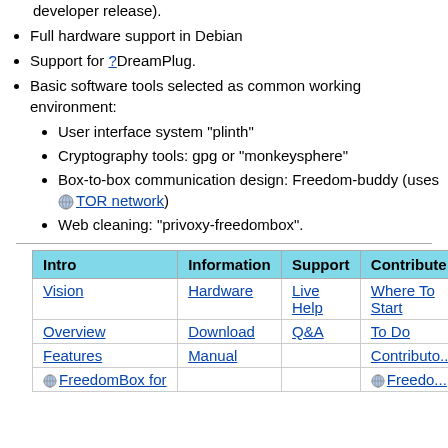developer release).
Full hardware support in Debian
Support for ?DreamPlug.
Basic software tools selected as common working environment:
User interface system "plinth"
Cryptography tools: gpg or "monkeysphere"
Box-to-box communication design: Freedom-buddy (uses [globe] TOR network)
Web cleaning: "privoxy-freedombox".
| Intro | Information | Support | Contribute |
| --- | --- | --- | --- |
| Vision | Hardware | Live Help | Where To Start |
| Overview | Download | Q&A | To Do |
| Features | Manual |  | Contributors |
| [globe] FreedomBox for |  |  | [globe] Freedo... |